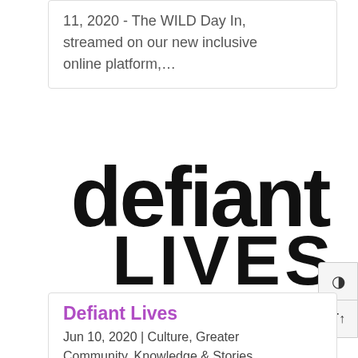11, 2020 - The WILD Day In, streamed on our new inclusive online platform,...
[Figure (logo): Defiant Lives logo in large bold black text: 'defiant' on top line and 'LIVES' on bottom line]
Defiant Lives
Jun 10, 2020 | Culture, Greater Community, Knowledge & Stories, The Arts, Traditions & Rituals,